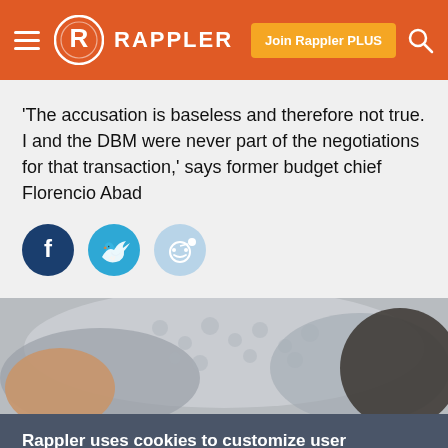Rappler
'The accusation is baseless and therefore not true. I and the DBM were never part of the negotiations for that transaction,' says former budget chief Florencio Abad
[Figure (illustration): Social sharing buttons: Facebook, Twitter, Reddit]
[Figure (photo): Close-up photo of a person, partially visible, cropped]
Rappler uses cookies to customize user experience
By continued use, you agree to our privacy policy and accept our use of such cookies. For further information, click find out more
I ACCEPT